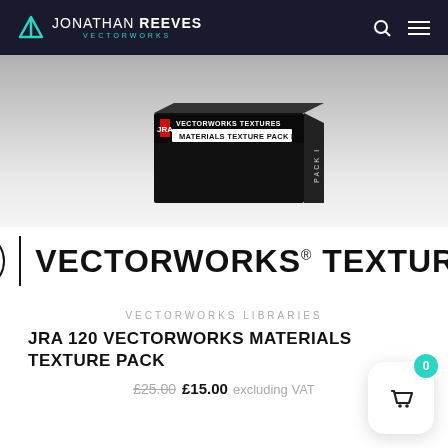JONATHAN REEVES VECTORWORKS
[Figure (photo): Product box for JRA Vectorworks Textures Materials Texture Pack I, shown in 3D perspective on a grey gradient background]
[Figure (logo): Vectorworks Textures logo with circle V icon and bold text VECTORWORKS TEXTURES]
Vectorworks Libraries
JRA 120 VECTORWORKS MATERIALS TEXTURE PACK
£25.00 £15.00 excluding VAT